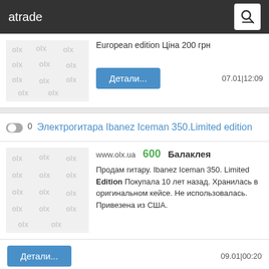atrade
European edition Ціна 200 грн
Детали...  07.01|12:09
Електрогитара Ibanez Iceman 350.Limited edition
www.olx.ua  600  Балаклея
Продам гитару. Ibanez Iceman 350. Limited Edition Покупала 10 лет назад. Хранилась в оригинальном кейсе. Не использовалась. Привезена из США.
Детали...  09.01|00:20